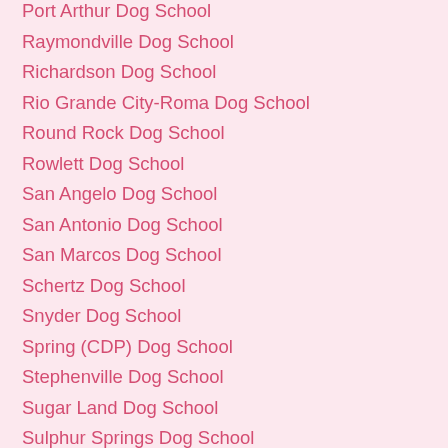Port Arthur Dog School
Raymondville Dog School
Richardson Dog School
Rio Grande City-Roma Dog School
Round Rock Dog School
Rowlett Dog School
San Angelo Dog School
San Antonio Dog School
San Marcos Dog School
Schertz Dog School
Snyder Dog School
Spring (CDP) Dog School
Stephenville Dog School
Sugar Land Dog School
Sulphur Springs Dog School
Sweetwater Dog School
Temple Dog School